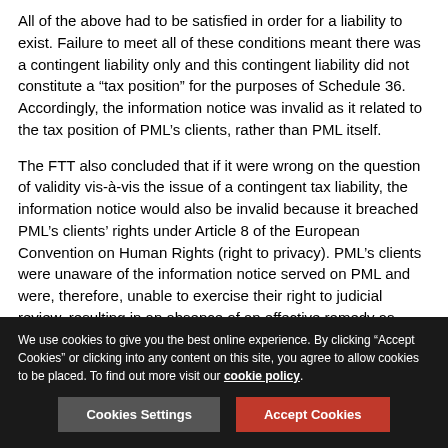All of the above had to be satisfied in order for a liability to exist. Failure to meet all of these conditions meant there was a contingent liability only and this contingent liability did not constitute a “tax position” for the purposes of Schedule 36. Accordingly, the information notice was invalid as it related to the tax position of PML’s clients, rather than PML itself.
The FTT also concluded that if it were wrong on the question of validity vis-à-vis the issue of a contingent tax liability, the information notice would also be invalid because it breached PML’s clients’ rights under Article 8 of the European Convention on Human Rights (right to privacy). PML’s clients were unaware of the information notice served on PML and were, therefore, unable to exercise their right to judicial review, resulting in an absence of an effective remedy as required by Article 8.
We use cookies to give you the best online experience. By clicking “Accept Cookies” or clicking into any content on this site, you agree to allow cookies to be placed. To find out more visit our cookie policy.